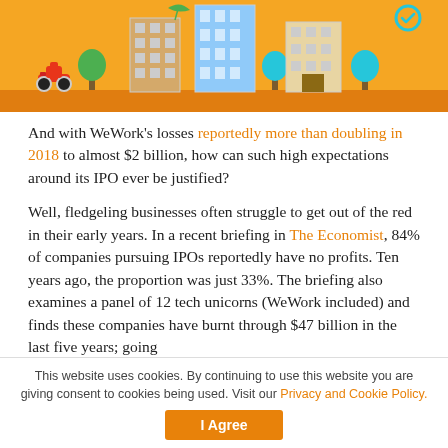[Figure (illustration): Orange banner illustration showing city buildings, trees, a scooter, and urban icons in flat design style on an orange background]
And with WeWork’s losses reportedly more than doubling in 2018 to almost $2 billion, how can such high expectations around its IPO ever be justified?
Well, fledgeling businesses often struggle to get out of the red in their early years. In a recent briefing in The Economist, 84% of companies pursuing IPOs reportedly have no profits. Ten years ago, the proportion was just 33%. The briefing also examines a panel of 12 tech unicorns (WeWork included) and finds these companies have burnt through $47 billion in the last five years; going
This website uses cookies. By continuing to use this website you are giving consent to cookies being used. Visit our Privacy and Cookie Policy.